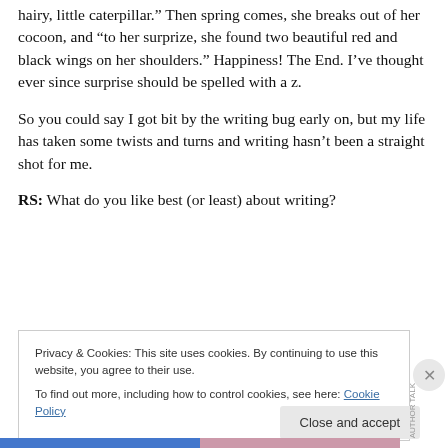hairy, little caterpillar.” Then spring comes, she breaks out of her cocoon, and “to her surprize, she found two beautiful red and black wings on her shoulders.” Happiness! The End. I’ve thought ever since surprise should be spelled with a z.
So you could say I got bit by the writing bug early on, but my life has taken some twists and turns and writing hasn’t been a straight shot for me.
RS: What do you like best (or least) about writing?
Privacy & Cookies: This site uses cookies. By continuing to use this website, you agree to their use.
To find out more, including how to control cookies, see here: Cookie Policy